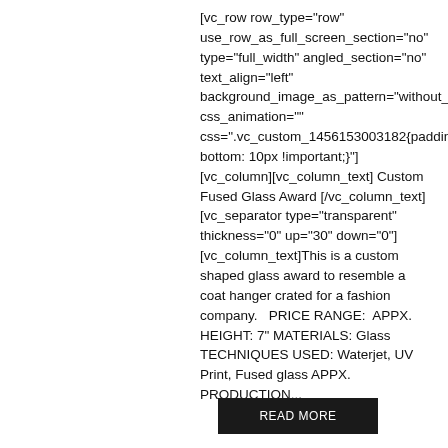[vc_row row_type="row" use_row_as_full_screen_section="no" type="full_width" angled_section="no" text_align="left" background_image_as_pattern="without_pattern" css_animation="" css=".vc_custom_1456153003182{padding-bottom: 10px !important;}"] [vc_column][vc_column_text] Custom Fused Glass Award [/vc_column_text] [vc_separator type="transparent" thickness="0" up="30" down="0"] [vc_column_text]This is a custom shaped glass award to resemble a coat hanger crated for a fashion company.   PRICE RANGE:  APPX. HEIGHT: 7" MATERIALS: Glass TECHNIQUES USED: Waterjet, UV Print, Fused glass APPX. PRODUCTION...
[Figure (other): Dark button with text READ MORE]